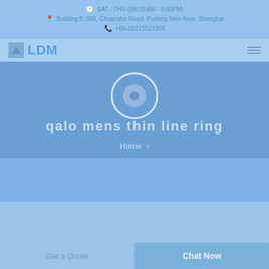SAT - THU (08:00 AM - 6:00PM)
Building 8, 098, Chuansha Road, Pudong New Area, Shanghai
+86-18221521958
[Figure (logo): LDM logo with sailboat icon]
qalo mens thin line ring
Home >
Get a Quote
Chat Now